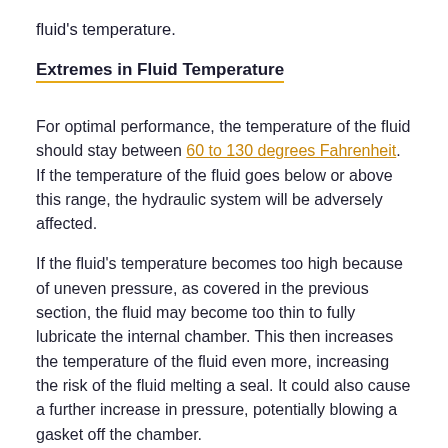fluid's temperature.
Extremes in Fluid Temperature
For optimal performance, the temperature of the fluid should stay between 60 to 130 degrees Fahrenheit. If the temperature of the fluid goes below or above this range, the hydraulic system will be adversely affected.
If the fluid's temperature becomes too high because of uneven pressure, as covered in the previous section, the fluid may become too thin to fully lubricate the internal chamber. This then increases the temperature of the fluid even more, increasing the risk of the fluid melting a seal. It could also cause a further increase in pressure, potentially blowing a gasket off the chamber.
In contrast, if the temperature drops below the 60-degree minimum range, the fluid will become too thick. The pistons will have difficulty pushing through the viscous